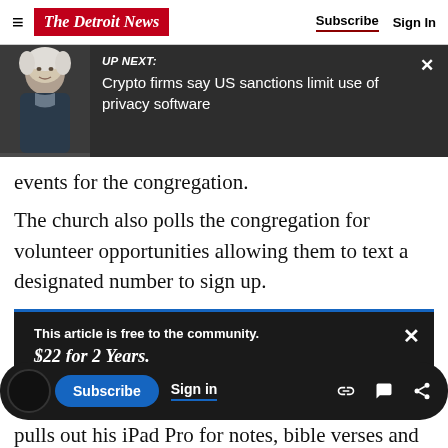The Detroit News — Subscribe | Sign In
[Figure (screenshot): UP NEXT banner with photo of elderly woman and headline: Crypto firms say US sanctions limit use of privacy software]
events for the congregation.
The church also polls the congregation for volunteer opportunities allowing them to text a designated number to sign up.
This article is free to the community. $22 for 2 Years. Subscribe now
Digitally engaged
pulls out his iPad Pro for notes, bible verses and